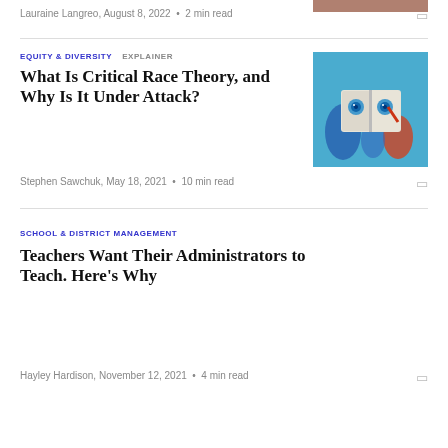Lauraine Langreo, August 8, 2022 · 2 min read
[Figure (photo): Partial thumbnail image visible at top right]
EQUITY & DIVERSITY   EXPLAINER
What Is Critical Race Theory, and Why Is It Under Attack?
[Figure (photo): Illustrated artwork of cartoon figures holding an open book with eyes, painted in blue and colorful tones]
Stephen Sawchuk, May 18, 2021 · 10 min read
SCHOOL & DISTRICT MANAGEMENT
Teachers Want Their Administrators to Teach. Here's Why
Hayley Hardison, November 12, 2021 · 4 min read